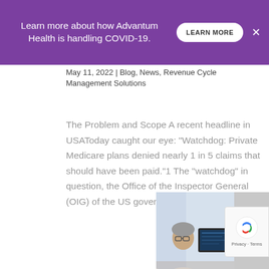Learn more about how Advantum Health is handling COVID-19.
May 11, 2022 | Blog, News, Revenue Cycle Management Solutions
The Problem and Scope A recent headline in USAToday caught our eye: “Watchdog: Private Medicare plans denied nearly 1 in 5 claims that should have been paid.”1 The “watchdog” in question, the Office of the Inspector General (OIG) of the US government’s Department of…
[Figure (photo): Healthcare workers — smiling woman in foreground, man in background, medical office setting with computer screens]